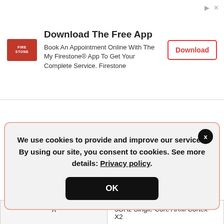[Figure (other): Firestone app advertisement banner with logo, text, and Download button]
|  | 3GHz Single-Core ARM Cortex-X2 |
|  | 2.5GHz Triple-Core ARM Cortex-A710 |
|  | 1.79GHz Quad-Core ARM Cortex-A510 |
| GPU graphical controller | Qualcomm Adreno 730 (818MHz) |
| Performance (benchmark) | AnTuTu: 886916 (v9) |
|  | Geekbench: 3528 (v5.1) |
We use cookies to provide and improve our services. By using our site, you consent to cookies. See more details: Privacy policy.